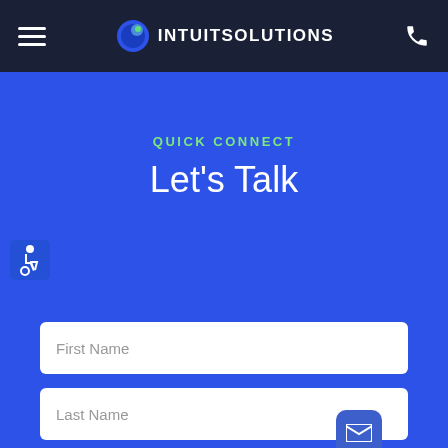INTUITSOLUTIONS — navigation header with hamburger menu and phone icon
QUICK CONNECT
Let's Talk
[Figure (illustration): Accessibility wheelchair icon on the left side]
First Name (form input field)
Last Name (form input field)
[Figure (illustration): Email envelope icon in a rounded square bubble]
Third form field (partially visible at bottom)